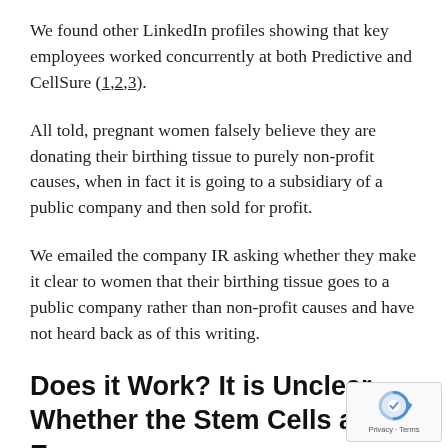We found other LinkedIn profiles showing that key employees worked concurrently at both Predictive and CellSure (1,2,3).
All told, pregnant women falsely believe they are donating their birthing tissue to purely non-profit causes, when in fact it is going to a subsidiary of a public company and then sold for profit.
We emailed the company IR asking whether they make it clear to women that their birthing tissue goes to a public company rather than non-profit causes and have not heard back as of this writing.
Does it Work? It is Unclear Whether the Stem Cells are Even Alive, Let Alone Functional
[Figure (logo): reCAPTCHA badge with blue reCAPTCHA logo and 'Privacy - Terms' text]